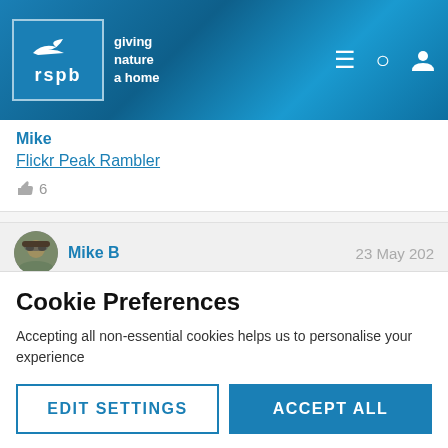[Figure (logo): RSPB logo with bird icon and text 'giving nature a home']
Mike
Flickr Peak Rambler
👍 6
[Figure (photo): Avatar photo of Mike B wearing sunglasses and hat]
Mike B
23 May 202
Our grass is looking more and more like a meadow, I'll be
Cookie Preferences
Accepting all non-essential cookies helps us to personalise your experience
EDIT SETTINGS
ACCEPT ALL